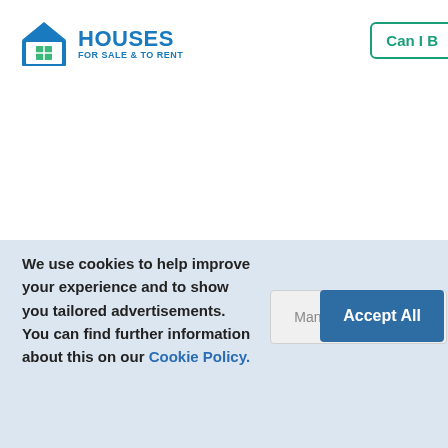[Figure (logo): Houses For Sale & To Rent logo with house icon]
Can I B
3 Bedroom Semi-
King George Cresce
Open House Blow
We use cookies to help improve your experience and to show you tailored advertisements. You can find further information about this on our Cookie Policy.
Manage preferences
Accept All